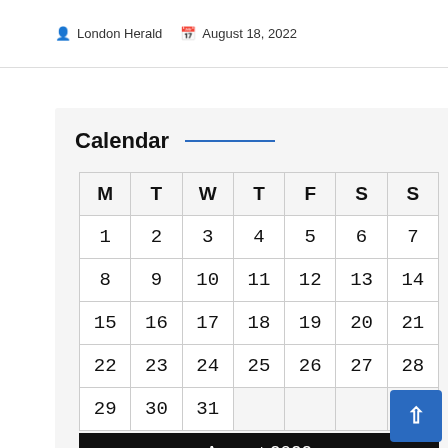London Herald   August 18, 2022
Calendar
| M | T | W | T | F | S | S |
| --- | --- | --- | --- | --- | --- | --- |
| 1 | 2 | 3 | 4 | 5 | 6 | 7 |
| 8 | 9 | 10 | 11 | 12 | 13 | 14 |
| 15 | 16 | 17 | 18 | 19 | 20 | 21 |
| 22 | 23 | 24 | 25 | 26 | 27 | 28 |
| 29 | 30 | 31 |  |  |  |  |
August 2022